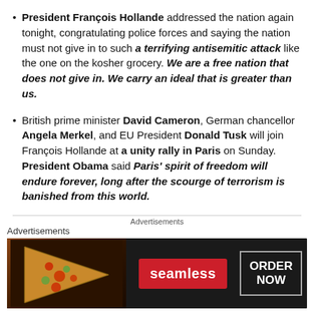President François Hollande addressed the nation again tonight, congratulating police forces and saying the nation must not give in to such a terrifying antisemitic attack like the one on the kosher grocery. We are a free nation that does not give in. We carry an ideal that is greater than us.
British prime minister David Cameron, German chancellor Angela Merkel, and EU President Donald Tusk will join François Hollande at a unity rally in Paris on Sunday. President Obama said Paris' spirit of freedom will endure forever, long after the scourge of terrorism is banished from this world.
[Figure (other): Seamless food delivery advertisement banner with pizza image, Seamless logo in red, and ORDER NOW button]